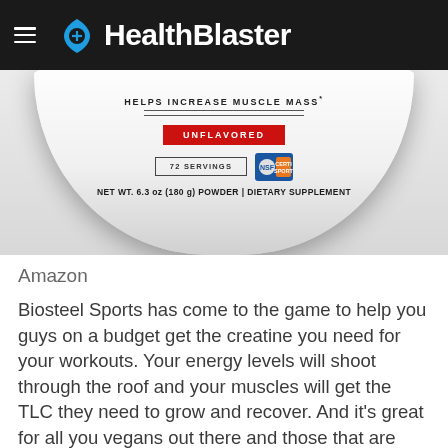HealthBlaster
[Figure (photo): Bottom portion of a white cylindrical supplement container showing: HELPS INCREASE MUSCLE MASS*, UNFLAVORED (red badge), 72 SERVINGS, Certified Sport badge, NET WT. 6.3 oz (180 g) POWDER | DIETARY SUPPLEMENT]
Amazon
Biosteel Sports has come to the game to help you guys on a budget get the creatine you need for your workouts. Your energy levels will shoot through the roof and your muscles will get the TLC they need to grow and recover. And it’s great for all you vegans out there and those that are looking to stay gluten-free. For this price, you really can’t go